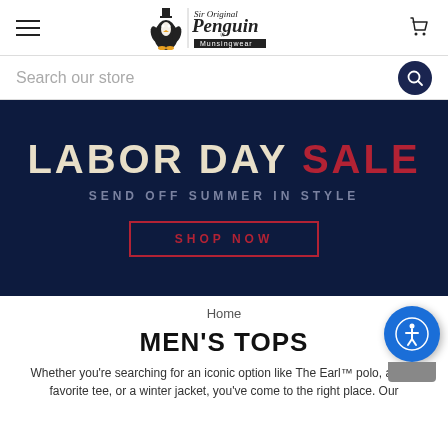[Figure (screenshot): Original Penguin by Munsingwear brand logo with penguin mascot and stylized script text]
Search our store
[Figure (infographic): Labor Day Sale banner on dark navy background. Large text: LABOR DAY SALE. Subtitle: SEND OFF SUMMER IN STYLE. Button: SHOP NOW]
Home
MEN'S TOPS
Whether you're searching for an iconic option like The Earl™ polo, a new favorite tee, or a winter jacket, you've come to the right place. Our